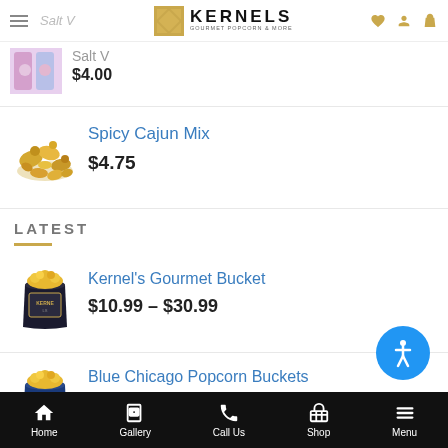Kernels Gourmet Popcorn & More - navigation header
[Figure (screenshot): Partially visible product image (colorful bag, cut off at top)]
$4.00
[Figure (photo): Spicy Cajun Mix - pile of golden mixed nuts/snacks]
Spicy Cajun Mix
$4.75
LATEST
[Figure (photo): Kernel's Gourmet Bucket - black popcorn bucket with gold logo]
Kernel's Gourmet Bucket
$10.99 – $30.99
[Figure (photo): Blue Chicago Popcorn Bucket - blue popcorn bucket]
Blue Chicago Popcorn Buckets
$10.99 – $20.99
Home | Gallery | Call Us | Shop | Menu